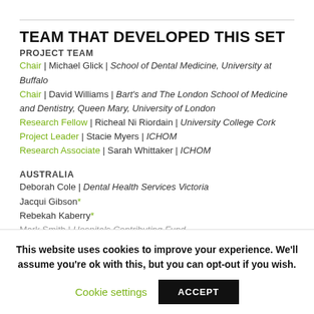TEAM THAT DEVELOPED THIS SET
PROJECT TEAM
Chair | Michael Glick | School of Dental Medicine, University at Buffalo
Chair | David Williams | Bart's and The London School of Medicine and Dentistry, Queen Mary, University of London
Research Fellow | Richeal Ni Riordain | University College Cork
Project Leader | Stacie Myers | ICHOM
Research Associate | Sarah Whittaker | ICHOM
AUSTRALIA
Deborah Cole | Dental Health Services Victoria
Jacqui Gibson*
Rebekah Kaberry*
Mark Smith | Hospitals Contributing Fund
This website uses cookies to improve your experience. We'll assume you're ok with this, but you can opt-out if you wish.
Cookie settings   ACCEPT